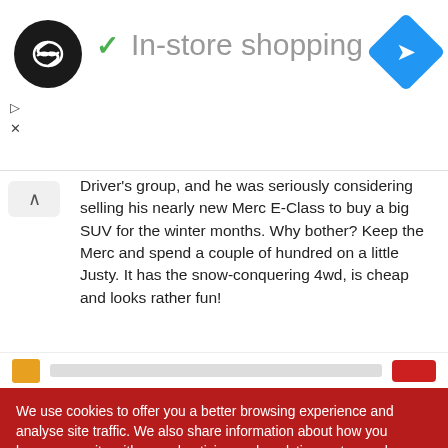[Figure (screenshot): Website header showing a circular black logo with infinity-like symbol, a green checkmark icon, 'In-store shopping' text in grey, and a blue navigation diamond button on the right. Small play and close icons appear below the logo.]
Driver's group, and he was seriously considering selling his nearly new Merc E-Class to buy a big SUV for the winter months. Why bother? Keep the Merc and spend a couple of hundred on a little Justy. It has the snow-conquering 4wd, is cheap and looks rather fun!
We use cookies to offer you a better browsing experience and analyse site traffic. We also share information about how you browse our site with our advertising and analytics partners who may combine it with other information that you have provided to them or that they have collected for your use of their services.